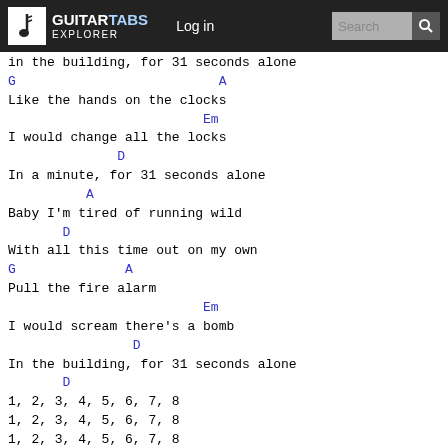GUITARTABS EXPLORER | Log in | Search
in the building, for 31 seconds alone
G                          A
Like the hands on the clocks
Em
I would change all the locks
D
In a minute, for 31 seconds alone
A
Baby I'm tired of running wild
D
With all this time out on my own
G              A
Pull the fire alarm
Em
I would scream there's a bomb
D
In the building, for 31 seconds alone
D
1, 2, 3, 4, 5, 6, 7, 8
1, 2, 3, 4, 5, 6, 7, 8
1, 2, 3, 4, 5, 6, 7, 8
(31 seconds alone)